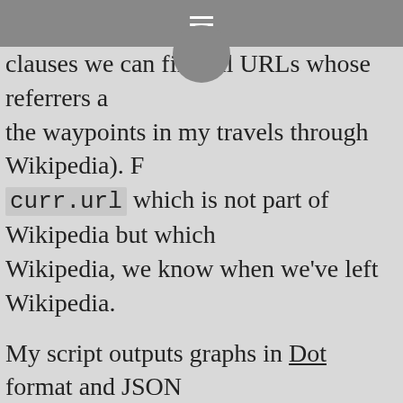≡
clauses we can find all URLs whose referrers are the waypoints in my travels through Wikipedia). For curr.url which is not part of Wikipedia but which Wikipedia, we know when we've left Wikipedia.
My script outputs graphs in Dot format and JSON representation that is compatible with JIT, a web library, the output of which you can see in the tit
I've put the script up on github and called it FoxyG written in a few hours for a specific purpose and I'll be updating FoxyGraph later with more interes